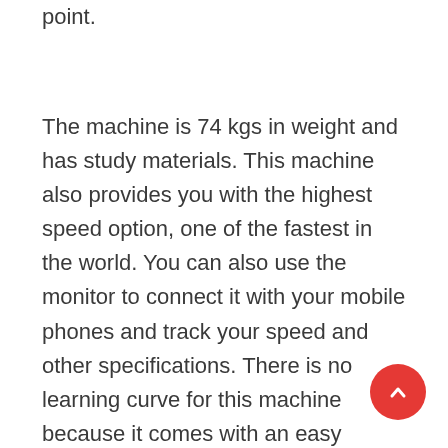point.
The machine is 74 kgs in weight and has study materials. This machine also provides you with the highest speed option, one of the fastest in the world. You can also use the monitor to connect it with your mobile phones and track your speed and other specifications. There is no learning curve for this machine because it comes with an easy quick-start feature, making it easier to use by just pressing a button and selecting a preset. Overall, it is a